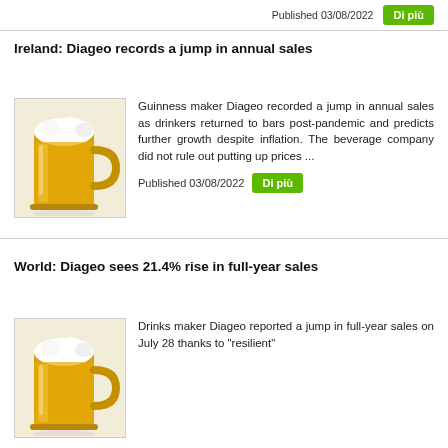Published 03/08/2022
Di più
Ireland: Diageo records a jump in annual sales
[Figure (photo): A glass beer mug filled with golden lager with a frothy white head]
Guinness maker Diageo recorded a jump in annual sales as drinkers returned to bars post-pandemic and predicts further growth despite inflation. The beverage company did not rule out putting up prices ...
Published 03/08/2022
Di più
World: Diageo sees 21.4% rise in full-year sales
[Figure (photo): A glass beer mug filled with golden lager with a frothy white head]
Drinks maker Diageo reported a jump in full-year sales on July 28 thanks to "resilient"